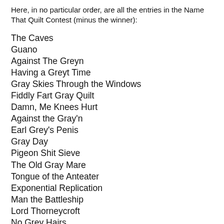Here, in no particular order, are all the entries in the Name That Quilt Contest (minus the winner):
The Caves
Guano
Against The Greyn
Having a Greyt Time
Gray Skies Through the Windows
Fiddly Fart Gray Quilt
Damn, Me Knees Hurt
Against the Gray'n
Earl Grey's Penis
Gray Day
Pigeon Shit Sieve
The Old Gray Mare
Tongue of the Anteater
Exponential Replication
Man the Battleship
Lord Thorneycroft
No Grey Hairs
Rainy Days in Portland
Bat…